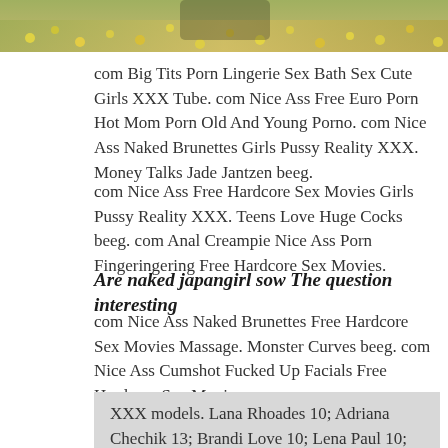[Figure (photo): Partial photo strip at top of page showing outdoor scene with yellow flowers and foliage]
com Big Tits Porn Lingerie Sex Bath Sex Cute Girls XXX Tube. com Nice Ass Free Euro Porn Hot Mom Porn Old And Young Porno. com Nice Ass Naked Brunettes Girls Pussy Reality XXX. Money Talks Jade Jantzen beeg.
com Nice Ass Free Hardcore Sex Movies Girls Pussy Reality XXX. Teens Love Huge Cocks beeg. com Anal Creampie Nice Ass Porn Fingeringering Free Hardcore Sex Movies.
Are naked japangirl sow The question interesting
com Nice Ass Naked Brunettes Free Hardcore Sex Movies Massage. Monster Curves beeg. com Nice Ass Cumshot Fucked Up Facials Free Hardcore Sex Movies.
XXX models. Lana Rhoades 10; Adriana Chechik 13; Brandi Love 10; Lena Paul 10; Angela White 10; Cory Chase 10; Sara Jay 17; Dani Daniels 11; Piper Perri 15; Alexis Fawx 16; Kelsi Monroe 12; Gina Valentina 15;